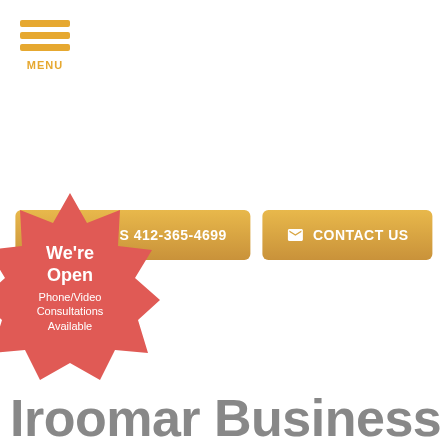[Figure (other): Hamburger menu icon with three orange horizontal bars and 'MENU' label below]
[Figure (other): Two golden/orange call-to-action buttons: 'CALL US 412-365-4699' with phone icon and 'CONTACT US' with envelope icon]
[Figure (other): Red starburst badge with text 'We're Open Phone/Video Consultations Available']
Ironmar Business